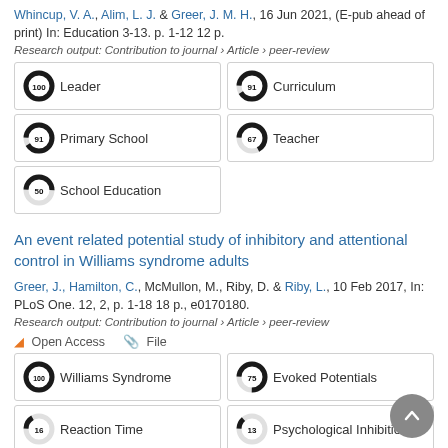Whincup, V. A., Alim, L. J. & Greer, J. M. H., 16 Jun 2021, (E-pub ahead of print) In: Education 3-13. p. 1-12 12 p.
Research output: Contribution to journal › Article › peer-review
[Figure (infographic): Keyword badges arranged in a 2-column grid with donut chart icons showing percentages. Leader 100%, Curriculum 91%, Primary School 91%, Teacher 67%, School Education 50%]
An event related potential study of inhibitory and attentional control in Williams syndrome adults
Greer, J., Hamilton, C., McMullon, M., Riby, D. & Riby, L., 10 Feb 2017, In: PLoS One. 12, 2, p. 1-18 18 p., e0170180.
Research output: Contribution to journal › Article › peer-review
Open Access   File
[Figure (infographic): Keyword badges in 2-column grid. Williams Syndrome 100%, Evoked Potentials 75%, Reaction Time 16%, Psychological Inhibition 13%, Child 11%]